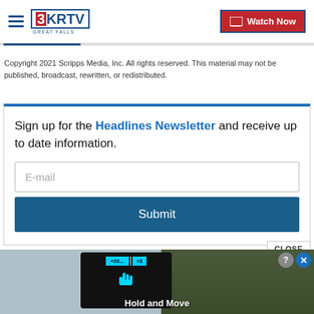3KRTV Great Falls — Watch Now
Copyright 2021 Scripps Media, Inc. All rights reserved. This material may not be published, broadcast, rewritten, or redistributed.
Sign up for the Headlines Newsletter and receive up to date information.
[Figure (screenshot): Newsletter signup form with E-mail input field and Submit button]
[Figure (screenshot): Ad banner at bottom showing Hold and Move game advertisement with device, score display, and close buttons]